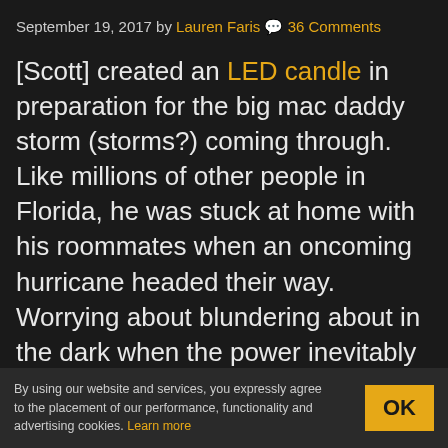September 19, 2017 by Lauren Faris 💬 36 Comments
[Scott] created an LED candle in preparation for the big mac daddy storm (storms?) coming through.  Like millions of other people in Florida, he was stuck at home with his roommates when an oncoming hurricane headed their way.  Worrying about blundering about in the dark when the power inevitably went out, they set off to gather up all of the candles they had lying around.  Realizing the monstrous pile of candles and matches looked more and more like a death wish, the decision
By using our website and services, you expressly agree to the placement of our performance, functionality and advertising cookies. Learn more